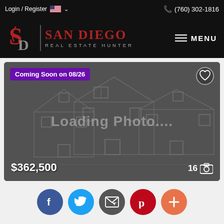Login / Register  (760) 302-1816
[Figure (logo): San Diego Real Estate Hunter logo with SD monogram on black background]
[Figure (photo): Loading Photo... placeholder showing house silhouette on dark background with Coming Soon on 08/26 badge, $362,500 price, and 16 photo count]
Coming Soon on 08/26
$362,500
16
[Figure (infographic): Social sharing buttons: Facebook, Twitter, Email, Pinterest, Plus]